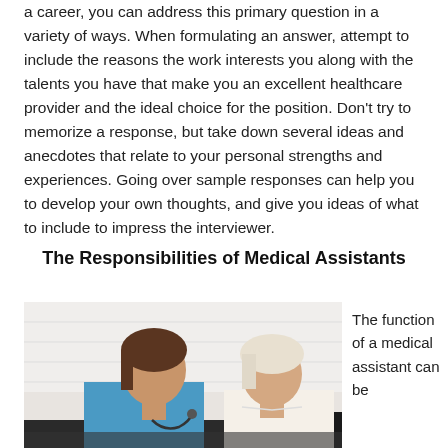a career, you can address this primary question in a variety of ways. When formulating an answer, attempt to include the reasons the work interests you along with the talents you have that make you an excellent healthcare provider and the ideal choice for the position. Don't try to memorize a response, but take down several ideas and anecdotes that relate to your personal strengths and experiences. Going over sample responses can help you to develop your own thoughts, and give you ideas of what to include to impress the interviewer.
The Responsibilities of Medical Assistants
[Figure (photo): Photo of a medical assistant in blue scrubs using a stethoscope on a seated older female patient in a clinical setting with white brick wall background.]
The function of a medical assistant can be